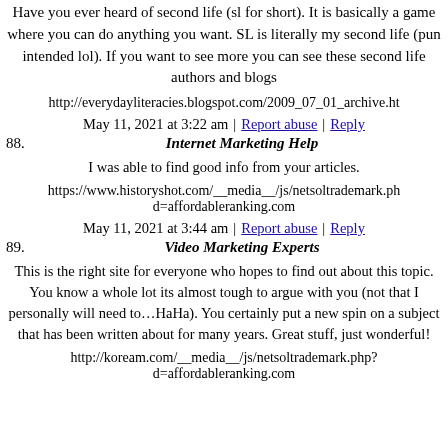Have you ever heard of second life (sl for short). It is basically a game where you can do anything you want. SL is literally my second life (pun intended lol). If you want to see more you can see these second life authors and blogs
http://everydayliteracies.blogspot.com/2009_07_01_archive.ht
May 11, 2021 at 3:22 am | Report abuse | Reply
88. Internet Marketing Help
I was able to find good info from your articles.
https://www.historyshot.com/__media__/js/netsoltrademark.ph d=affordableranking.com
May 11, 2021 at 3:44 am | Report abuse | Reply
89. Video Marketing Experts
This is the right site for everyone who hopes to find out about this topic. You know a whole lot its almost tough to argue with you (not that I personally will need to…HaHa). You certainly put a new spin on a subject that has been written about for many years. Great stuff, just wonderful!
http://koream.com/__media__/js/netsoltrademark.php? d=affordableranking.com